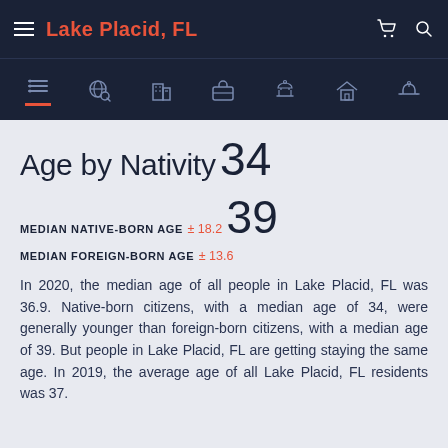Lake Placid, FL
Age by Nativity
34
MEDIAN NATIVE-BORN AGE
± 18.2
39
MEDIAN FOREIGN-BORN AGE
± 13.6
In 2020, the median age of all people in Lake Placid, FL was 36.9. Native-born citizens, with a median age of 34, were generally younger than foreign-born citizens, with a median age of 39. But people in Lake Placid, FL are getting staying the same age. In 2019, the average age of all Lake Placid, FL residents was 37.